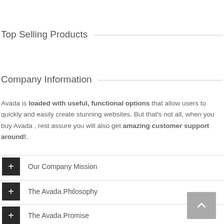Top Selling Products
Company Information
Avada is loaded with useful, functional options that allow users to quickly and easily create stunning websites. But that's not all, when you buy Avada , rest assure you will also get amazing customer support around!.
Our Company Mission
The Avada Philosophy
The Avada Promise